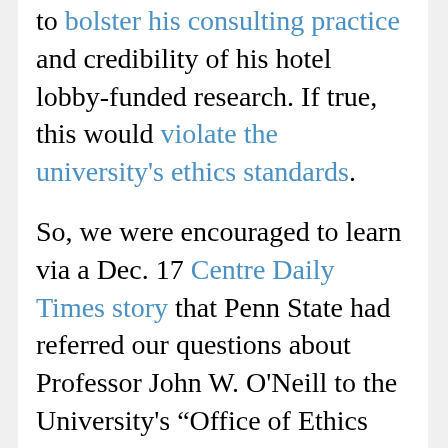to bolster his consulting practice and credibility of his hotel lobby-funded research. If true, this would violate the university's ethics standards.
So, we were encouraged to learn via a Dec. 17 Centre Daily Times story that Penn State had referred our questions about Professor John W. O'Neill to the University's “Office of Ethics and Compliance for